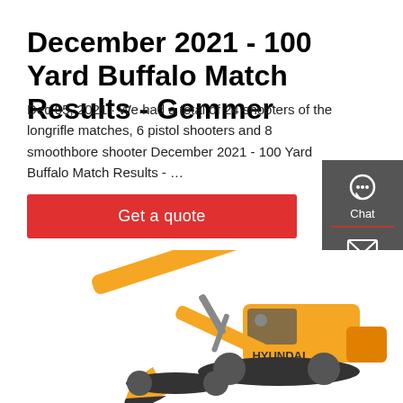December 2021 - 100 Yard Buffalo Match Results - Gemmer
Dec 05, 2021 · We had a total of 24 shooters of the longrifle matches, 6 pistol shooters and 8 smoothbore shooter December 2021 - 100 Yard Buffalo Match Results - …
Get a quote
[Figure (screenshot): Sidebar widget with Chat, Email, and Contact icons on a dark grey background]
[Figure (photo): Yellow Hyundai excavator on white background]